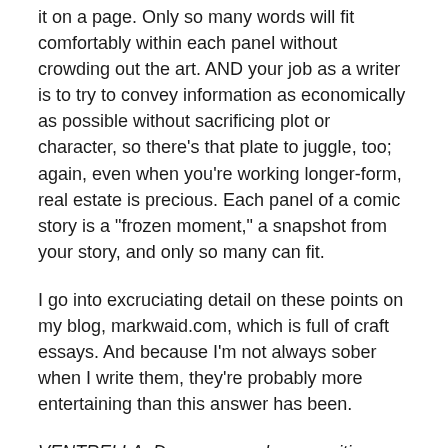it on a page. Only so many words will fit comfortably within each panel without crowding out the art. AND your job as a writer is to try to convey information as economically as possible without sacrificing plot or character, so there’s that plate to juggle, too; again, even when you’re working longer-form, real estate is precious. Each panel of a comic story is a “frozen moment,” a snapshot from your story, and only so many can fit.
I go into excruciating detail on these points on my blog, markwaid.com, which is full of craft essays. And because I’m not always sober when I write them, they’re probably more entertaining than this answer has been.
VENTRELLA: Do you ever plan on writing a novel?
WAID: Dear Jesus God, no. Never. I don’t have the attention span for it, I don’t have the linguistic chops, and I